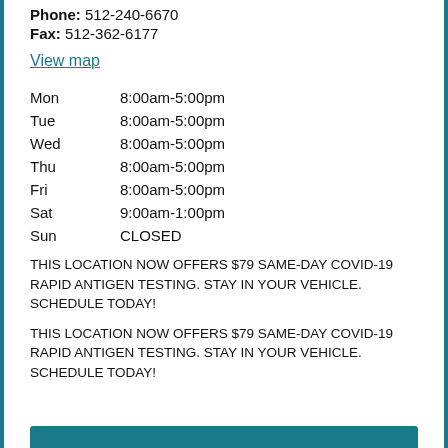Phone: 512-240-6670
Fax: 512-362-6177
View map
| Day | Hours |
| --- | --- |
| Mon | 8:00am-5:00pm |
| Tue | 8:00am-5:00pm |
| Wed | 8:00am-5:00pm |
| Thu | 8:00am-5:00pm |
| Fri | 8:00am-5:00pm |
| Sat | 9:00am-1:00pm |
| Sun | CLOSED |
THIS LOCATION NOW OFFERS $79 SAME-DAY COVID-19 RAPID ANTIGEN TESTING. STAY IN YOUR VEHICLE. SCHEDULE TODAY!
THIS LOCATION NOW OFFERS $79 SAME-DAY COVID-19 RAPID ANTIGEN TESTING. STAY IN YOUR VEHICLE. SCHEDULE TODAY!